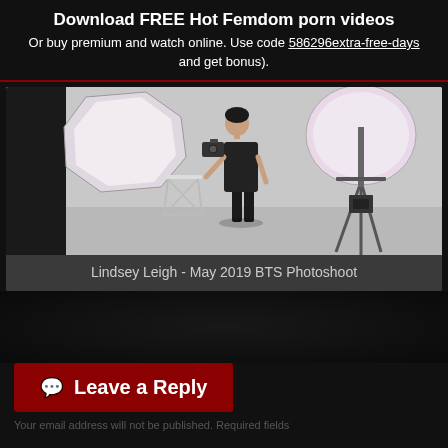Download FREE Hot Femdom porn videos
Or buy premium and watch online. Use code 586296extra-free-days and get bonus).
[Figure (photo): A woman in a black dress standing in a photography studio with lighting equipment — a softbox on the left, a reflector on the right, and a camera tripod visible. The background is a white studio backdrop.]
Lindsey Leigh - May 2019 BTS Photoshoot
Leave a Reply
Your email address will not be published. Required fields